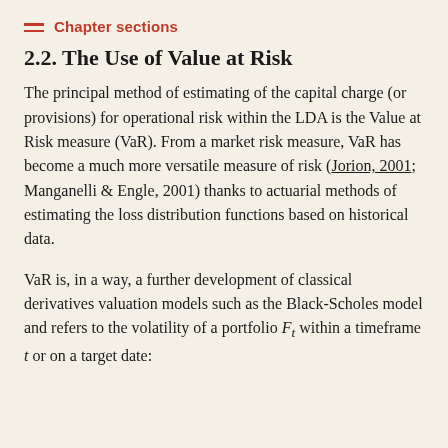Chapter sections
2.2. The Use of Value at Risk
The principal method of estimating of the capital charge (or provisions) for operational risk within the LDA is the Value at Risk measure (VaR). From a market risk measure, VaR has become a much more versatile measure of risk (Jorion, 2001; Manganelli & Engle, 2001) thanks to actuarial methods of estimating the loss distribution functions based on historical data.
VaR is, in a way, a further development of classical derivatives valuation models such as the Black-Scholes model and refers to the volatility of a portfolio F_t within a timeframe t or on a target date: